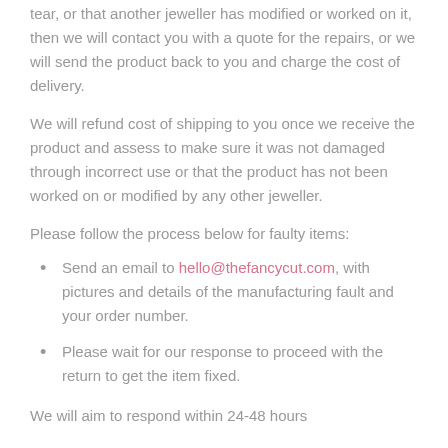tear, or that another jeweller has modified or worked on it, then we will contact you with a quote for the repairs, or we will send the product back to you and charge the cost of delivery.
We will refund cost of shipping to you once we receive the product and assess to make sure it was not damaged through incorrect use or that the product has not been worked on or modified by any other jeweller.
Please follow the process below for faulty items:
Send an email to hello@thefancycut.com, with pictures and details of the manufacturing fault and your order number.
Please wait for our response to proceed with the return to get the item fixed.
We will aim to respond within 24-48 hours